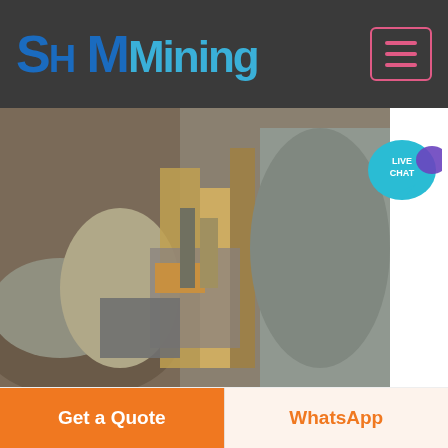SH MMining
[Figure (photo): Quarry mining site with industrial crushing equipment, gravel piles, and rocky terrain]
[Figure (infographic): Live Chat speech bubble icon in teal/cyan color with purple accent bubble]
Quarrying Of Natural Aggregates
Home Quarrying Of Natural Aggregates Natural Aggregates Foundation of America s Future crushed stone quarry assessment reportupsheciqacGeologic Characterization of Natural Aggregate GEOLOGIC CHARACTERIZATION OF NATURAL AGGREGATE A Field Geologist s Guide to QuarryWikipedia A more detailed picture of the environmental impact of aggregate mining is outlined in a
Chat Online
[Figure (photo): Quarry or mining site with green vegetation and industrial machinery visible]
Get a Quote  WhatsApp